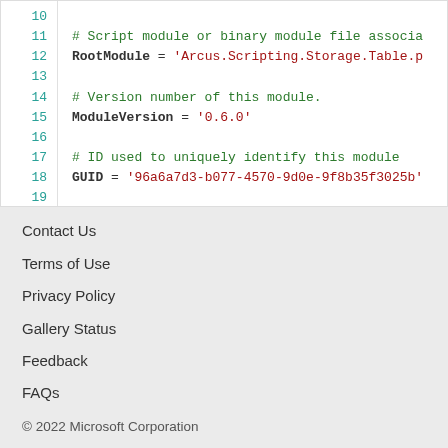[Figure (screenshot): Code editor showing PowerShell module manifest. Lines 10-20 visible. Line 11-12: comment '# Script module or binary module file associa...' and 'RootModule = Arcus.Scripting.Storage.Table.p...'. Line 14-15: comment '# Version number of this module.' and 'ModuleVersion = 0.6.0'. Line 17-18: comment '# ID used to uniquely identify this module' and 'GUID = 96a6a7d3-b077-4570-9d0e-9f8b35f3025b'.]
Contact Us
Terms of Use
Privacy Policy
Gallery Status
Feedback
FAQs
© 2022 Microsoft Corporation